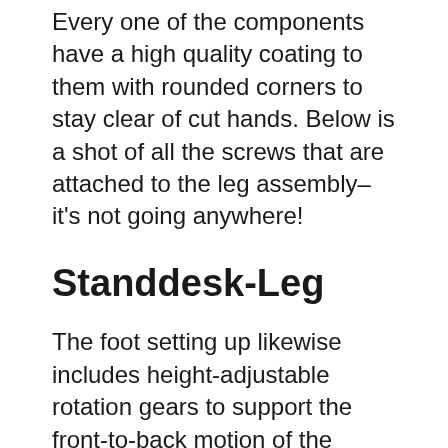Every one of the components have a high quality coating to them with rounded corners to stay clear of cut hands. Below is a shot of all the screws that are attached to the leg assembly– it's not going anywhere!
Standdesk-Leg
The foot setting up likewise includes height-adjustable rotation gears to support the front-to-back motion of the desk, which was really useful for the carpeted home office flooring. I'm likewise utilizing a flooring mat to shield the rug from chair wheel damages at sitting height, and also push the chair back when I'm transitioning to standing